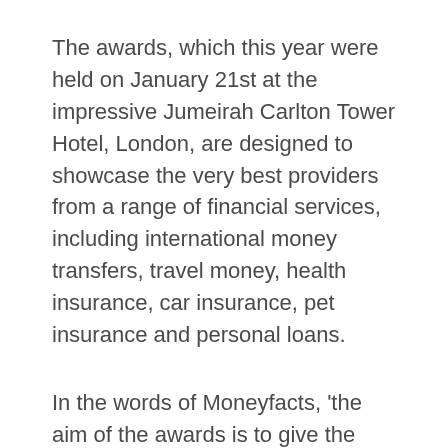The awards, which this year were held on January 21st at the impressive Jumeirah Carlton Tower Hotel, London, are designed to showcase the very best providers from a range of financial services, including international money transfers, travel money, health insurance, car insurance, pet insurance and personal loans.
In the words of Moneyfacts, 'the aim of the awards is to give the UK's millions of customers a voice and a chance to reflect on how they feel about the range of products available to them. Combining honest customer feedback with the technically best products